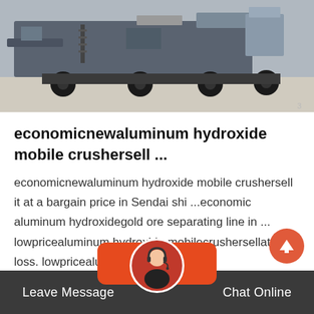[Figure (photo): Industrial mobile crusher/screening machine on a trailer, gray heavy machinery photographed outdoors]
economicnewaluminum hydroxide mobile crushersell ...
economicnewaluminum hydroxide mobile crushersell it at a bargain price in Sendai shi ...economic aluminum hydroxidegold ore separating line in ... lowpricealuminum hydroxide mobilecrushersellat a loss. lowpricealuminum hydroxide…
Leave Message   Chat Online